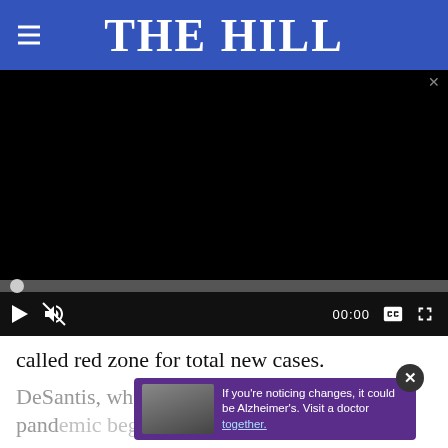THE HILL
[Figure (screenshot): Black video player with progress bar and controls showing play button, mute icon, timestamp 00:00, captions icon, and fullscreen icon]
called red zone for total new cases.
DeSantis, who has consistently resisted state … pandemic began and has earned the praise of
[Figure (photo): Ad overlay showing two people and text: If you're noticing changes, it could be Alzheimer's. Visit a doctor together.]